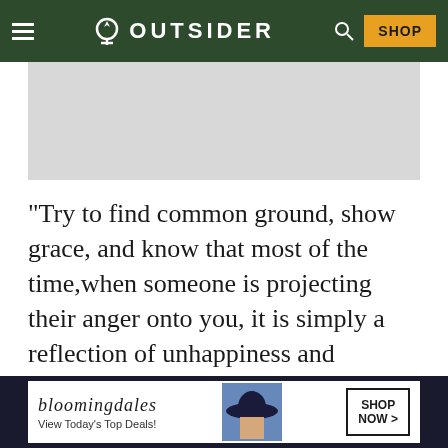OUTSIDER
[Figure (photo): Gray rectangular image placeholder below the header navigation bar]
“Try to find common ground, show grace, and know that most of the time,when someone is projecting their anger onto you, it is simply a reflection of unhappiness and brokenness inside. Be good. Even when you don’t want to. Over time, it will become your natural reaction. Your mood and overall happiness will
[Figure (screenshot): Bloomingdale’s advertisement banner at the bottom: logo text, tagline ‘View Today’s Top Deals!’, image of woman with hat, and SHOP NOW button]